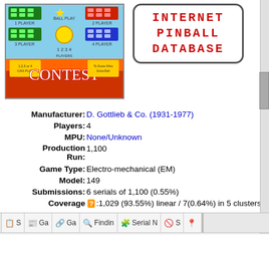[Figure (photo): Pinball machine cabinet art for a 4-player contest pinball game, showing colorful playfield backglass with score displays in green and red, yellow ball, and 'CONTEST' text]
[Figure (logo): Internet Pinball Database logo in red courier-style bold text inside rounded rectangle border]
Manufacturer: D. Gottlieb & Co. (1931-1977)
Players: 4
MPU: None/Unknown
Production Run: 1,100
Game Type: Electro-mechanical (EM)
Model: 149
Submissions: 6 serials of 1,100 (0.55%)
Coverage: 1,029 (93.55%) linear / 7(0.64%) in 5 clusters 55 wide